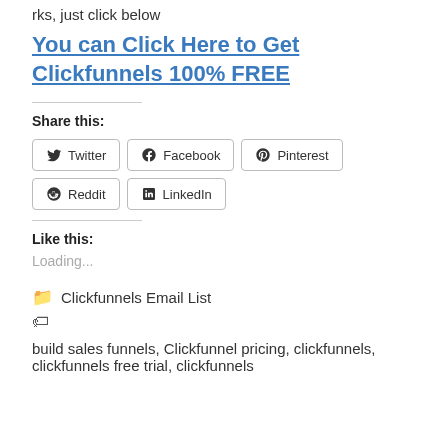rks, just click below
You can Click Here to Get Clickfunnels 100% FREE
Share this:
Twitter  Facebook  Pinterest  Reddit  LinkedIn
Like this:
Loading...
Clickfunnels Email List
build sales funnels, Clickfunnel pricing, clickfunnels, clickfunnels free trial, clickfunnels